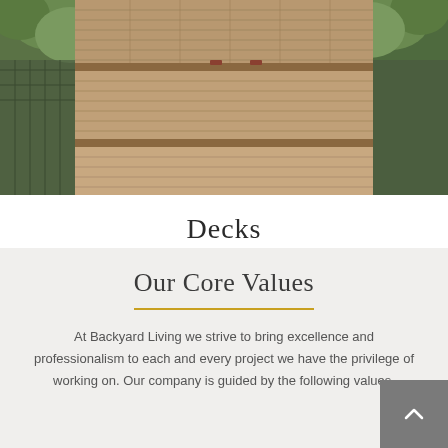[Figure (photo): Aerial/top-down view of a wooden deck with multiple tiers, green plants and shrubs, showing natural wood plank textures in brown/tan tones.]
Decks
Our Core Values
At Backyard Living we strive to bring excellence and professionalism to each and every project we have the privilege of working on. Our company is guided by the following values.